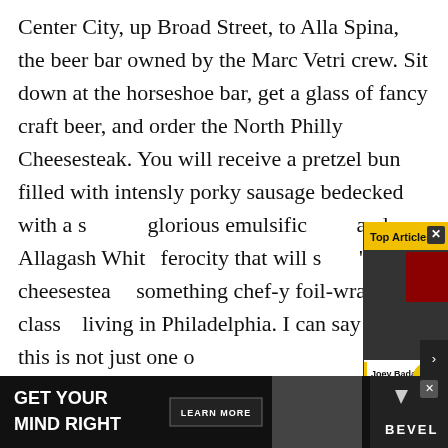Center City, up Broad Street, to Alla Spina, the beer bar owned by the Marc Vetri crew. Sit down at the horseshoe bar, get a glass of fancy craft beer, and order the North Philly Cheesesteak. You will receive a pretzel bun filled with intensly porky sausage bedecked with a s[...] glorious emulsific[...] and Allagash Whit[...] ferocity that will s[...] "Philly cheesestea[...] something chef-y[...] foil-wrapped class[...] living in Philadelphia. I can say this: this is not just one o[...] of the
[Figure (screenshot): Top Articles widget overlay showing FullSize Run logo (stack of boxes) and a video thumbnail of Joey Badass with sneaker boxes in background. Article title reads 'Joey Badass Resold Sneakers to Launch His Rap Career | FullSize Run'. Yellow arrow button visible. X close button in top right corner.]
[Figure (screenshot): Advertisement banner at bottom: black background with white bold text 'GET YOUR MIND RIGHT', a 'LEARN MORE' button, a person's image, and BEVEL logo. Ad close X button.]